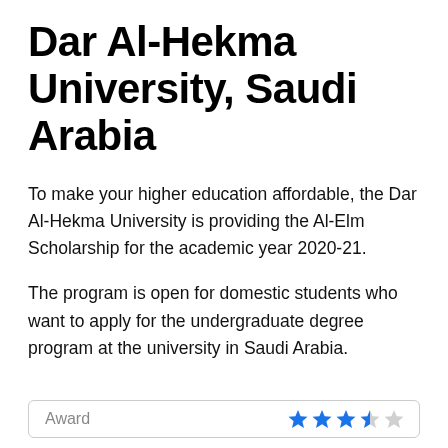Dar Al-Hekma University, Saudi Arabia
To make your higher education affordable, the Dar Al-Hekma University is providing the Al-Elm Scholarship for the academic year 2020-21.
The program is open for domestic students who want to apply for the undergraduate degree program at the university in Saudi Arabia.
| Award | Rating |
| --- | --- |
| Award | ★★★★☆ |